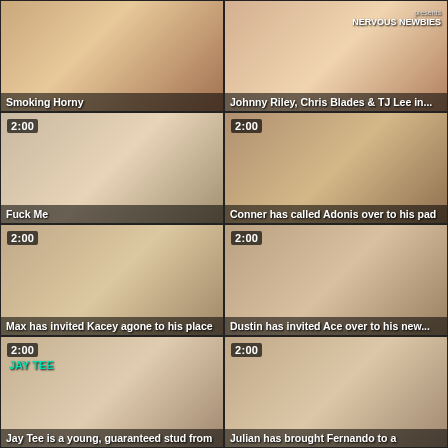[Figure (photo): Video thumbnail - Smoking Horny, no duration shown]
[Figure (photo): Video thumbnail - Johnny Riley, Chris Blades & TJ Lee in..., Nervous Newbies brand, no duration]
[Figure (photo): Video thumbnail - Fuck Me, duration 2:00]
[Figure (photo): Video thumbnail - Conner has called Adonis over to his pad, duration 2:00]
[Figure (photo): Video thumbnail - Max has invited Kacey agone to his place, duration 2:00]
[Figure (photo): Video thumbnail - Dustin has invited Ace over to his new..., duration 2:00]
[Figure (photo): Video thumbnail - Jay Tee is a young, guaranteed stud from, duration 2:00, Jay Tee brand]
[Figure (photo): Video thumbnail - Julian has brought Fernando to a, duration 2:00]